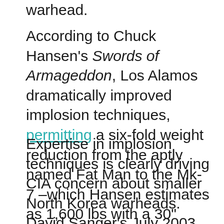warhead.
According to Chuck Hansen's Swords of Armageddon, Los Alamos dramatically improved implosion techniques, permitting a six-fold weight reduction from the aptly named Fat Man to the Mk-7 –which Hansen estimates as 1,600 lbs with a 30" diameter.
Expertise in implosion techniques is clearly driving CIA concern about smaller North Korea warheads. David Sanger's July 2003 article was prompted by the detection of an "advanced nuclear testing site in an area called Youngdoktong" in North Korea. What